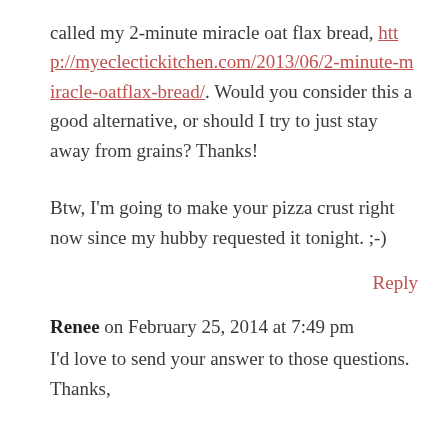called my 2-minute miracle oat flax bread, http://myeclectickitchen.com/2013/06/2-minute-miracle-oatflax-bread/. Would you consider this a good alternative, or should I try to just stay away from grains? Thanks!
Btw, I'm going to make your pizza crust right now since my hubby requested it tonight. ;-)
Reply
Renee on February 25, 2014 at 7:49 pm
I'd love to send your answer to those questions.
Thanks,